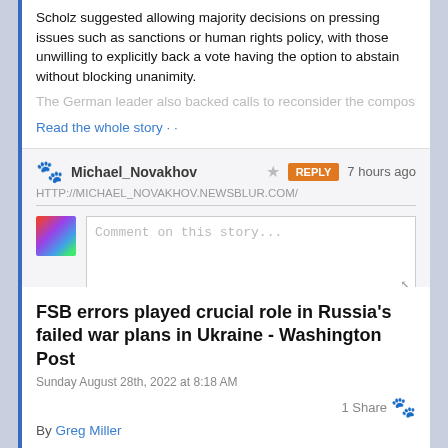Scholz suggested allowing majority decisions on pressing issues such as sanctions or human rights policy, with those unwilling to explicitly back a vote having the option to abstain without blocking unanimity.
The German leader also backed calls to reconsider the composition of the
Read the whole story · ·
Michael_Novakhov
HTTP://MICHAEL_NOVAKHOV.NEWSBLUR.COM/
7 hours ago
Comment on this story...
Share this story
FSB errors played crucial role in Russia's failed war plans in Ukraine - Washington Post
Sunday August 28th, 2022 at 8:18 AM
1 Share
By Greg Miller